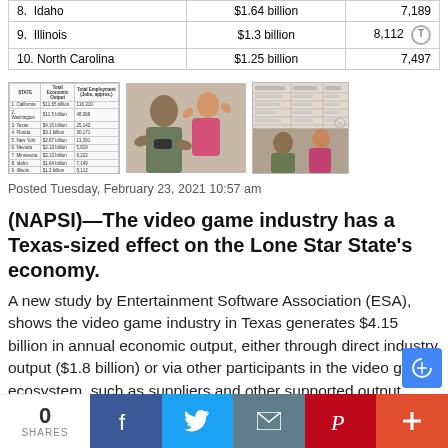| State | Total Economic Output | Total Employment (Jobs, approx.) |
| --- | --- | --- |
| 8.  Idaho | $1.64 billion | 7,189 |
| 9.  Illinois | $1.3 billion | 8,112 |
| 10. North Carolina | $1.25 billion | 7,497 |
[Figure (screenshot): Thumbnail of data table showing state rankings]
[Figure (photo): Photo of adult and child playing video games together]
[Figure (screenshot): Thumbnail of second data table and photo]
Posted Tuesday, February 23, 2021 10:57 am
(NAPSI)—The video game industry has a Texas-sized effect on the Lone Star State's economy.
A new study by Entertainment Software Association (ESA), shows the video game industry in Texas generates $4.15 billion in annual economic output, either through direct industry output ($1.8 billion) or via other participants in the video game ecosystem, such as suppliers and other supported output ($2.4 billion). What's more, the industry accounts for about 25,000 jobs in the state, either directly through industry
0 SHARES  Facebook  Twitter  Email  Pinterest  +